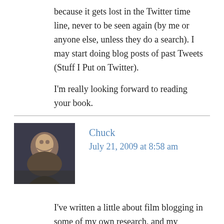because it gets lost in the Twitter time line, never to be seen again (by me or anyone else, unless they do a search). I may start doing blog posts of past Tweets (Stuff I Put on Twitter).

I'm really looking forward to reading your book.
Chuck
July 21, 2009 at 8:58 am
I've written a little about film blogging in some of my own research, and my impressions are similar to yours–Twitter is supplanting the link-and-comment post. If I want something more permanent, I'll usually either bookmark it on delicious or will include it in a longer "link post".